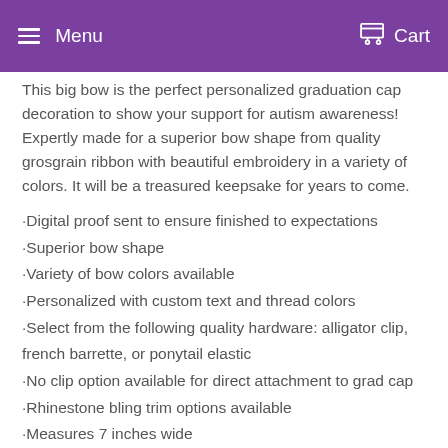Menu   Cart
This big bow is the perfect personalized graduation cap decoration to show your support for autism awareness!  Expertly made for a superior bow shape from quality grosgrain ribbon with beautiful embroidery in a variety of colors. It will be a treasured keepsake for years to come.
·Digital proof sent to ensure finished to expectations
·Superior bow shape
·Variety of bow colors available
·Personalized with custom text and thread colors
·Select from the following quality hardware: alligator clip, french barrette, or ponytail elastic
·No clip option available for direct attachment to grad cap
·Rhinestone bling trim options available
·Measures 7 inches wide
More Information:
A digital proof is sent with each order to make sure your graduation cap bow is made exactly as you are envisioning. Please make sure...